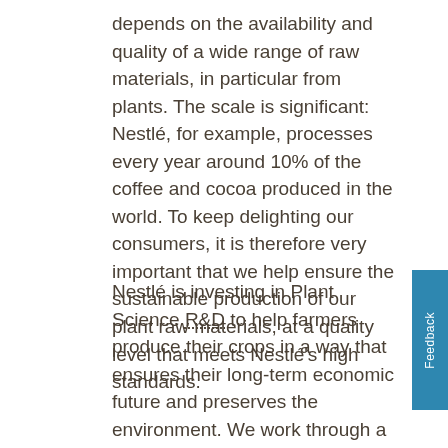depends on the availability and quality of a wide range of raw materials, in particular from plants. The scale is significant: Nestlé, for example, processes every year around 10% of the coffee and cocoa produced in the world. To keep delighting our consumers, it is therefore very important that we help ensure the sustainable production of our plant raw materials, at a quality level that meets Nestlé's high standards.
Nestlé is investing in Plant Science R&D to help farmers produce their crops in a way that ensures their long-term economic future and preserves the environment. We work through a network of R&D centres, together with Nestlé agronomists in producing countries and in close coordination with national agricultural institutes,